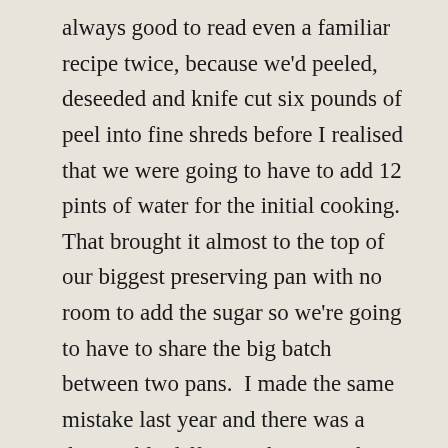always good to read even a familiar recipe twice, because we'd peeled, deseeded and knife cut six pounds of peel into fine shreds before I realised that we were going to have to add 12 pints of water for the initial cooking.  That brought it almost to the top of our biggest preserving pan with no room to add the sugar so we're going to have to share the big batch between two pans.  I made the same mistake last year and there was a discernible difference between the two batches – both were very nice but just different in texture and set.  I also need to climb up to the top cupboard to make sure we've got enough jam jars. When we first moved here I bought what I thought would be a lifetime supply of screw top lids from a